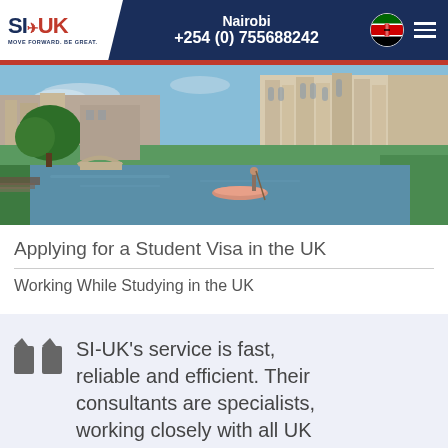SI-UK | Nairobi +254 (0) 755688242
[Figure (photo): Panoramic view of Cambridge University buildings along the River Cam with punting boat and green lawns]
Applying for a Student Visa in the UK
Working While Studying in the UK
SI-UK's service is fast, reliable and efficient. Their consultants are specialists, working closely with all UK